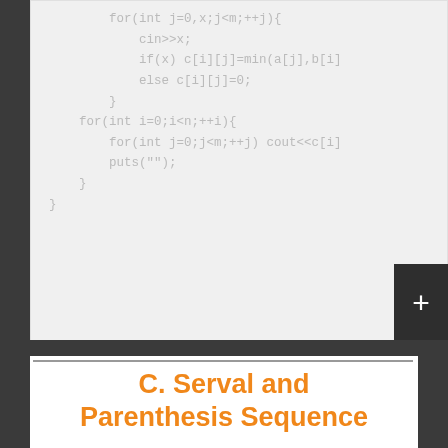[Figure (screenshot): Code block showing C++ code snippet with for loops, cin input, conditional assignment using min function, and output using cout and puts, displayed in light gray monospace text on light gray background]
C. Serval and Parenthesis Sequence
time limit per test1 second memory limit per test256 megabytes
Serval soon said goodbye to Japari kindergarten,